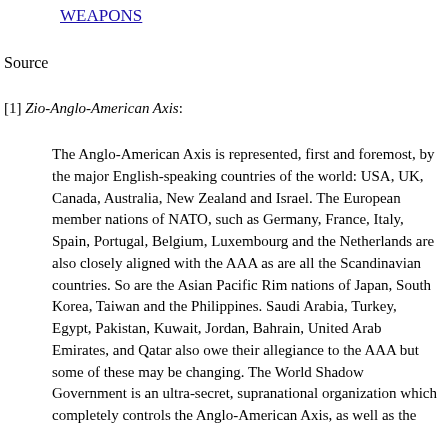WEAPONS
Source
[1] Zio-Anglo-American Axis:
The Anglo-American Axis is represented, first and foremost, by the major English-speaking countries of the world: USA, UK, Canada, Australia, New Zealand and Israel. The European member nations of NATO, such as Germany, France, Italy, Spain, Portugal, Belgium, Luxembourg and the Netherlands are also closely aligned with the AAA as are all the Scandinavian countries. So are the Asian Pacific Rim nations of Japan, South Korea, Taiwan and the Philippines. Saudi Arabia, Turkey, Egypt, Pakistan, Kuwait, Jordan, Bahrain, United Arab Emirates, and Qatar also owe their allegiance to the AAA but some of these may be changing. The World Shadow Government is an ultra-secret, supranational organization which completely controls the Anglo-American Axis, as well as the